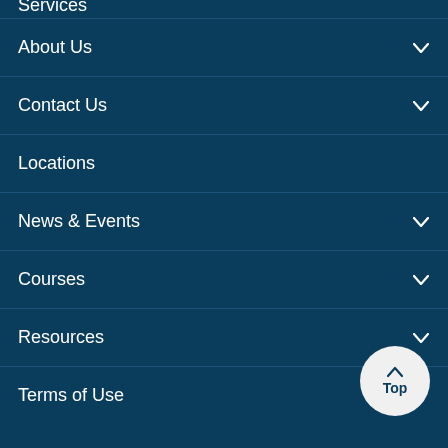Services (partial, cropped at top)
About Us
Contact Us
Locations
News & Events
Courses
Resources
Terms of Use